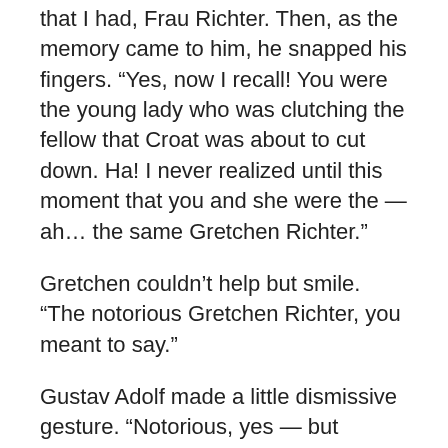that I had, Frau Richter. Then, as the memory came to him, he snapped his fingers. “Yes, now I recall! You were the young lady who was clutching the fellow that Croat was about to cut down. Ha! I never realized until this moment that you and she were the — ah… the same Gretchen Richter.”
Gretchen couldn’t help but smile. “The notorious Gretchen Richter, you meant to say.”
Gustav Adolf made a little dismissive gesture. “Notorious, yes — but notorious to whom, exactly? I am not unaware that you were the central figure in holding together the population of Amsterdam when they successfully resisted the Spanish besieging the city. Today, of course, we are on quite good terms with those same Spaniards — not allied,